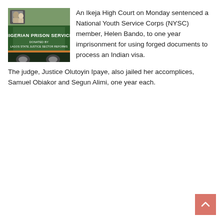[Figure (photo): Photo of a Nigerian Prison Service vehicle/bus with text 'NIGERIAN PRISON SERVICE' and 'DONATED BY LAGOS STATE JUSTICE SECTOR REFORMS' on the side]
An Ikeja High Court on Monday sentenced a National Youth Service Corps (NYSC) member, Helen Bando, to one year imprisonment for using forged documents to process an Indian visa.
The judge, Justice Olutoyin Ipaye, also jailed her accomplices, Samuel Obiakor and Segun Alimi, one year each.